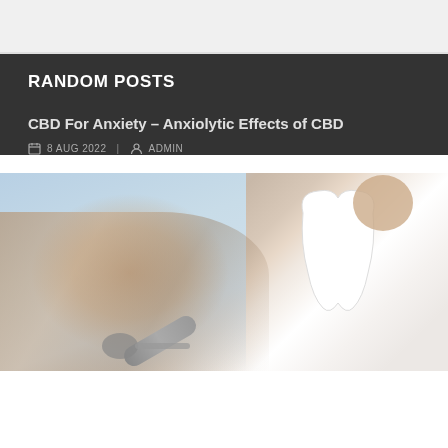RANDOM POSTS
CBD For Anxiety – Anxiolytic Effects of CBD
8 AUG 2022 | ADMIN
[Figure (photo): Close-up photo of a dental model (white tooth) with a person's hand holding a dental mirror in the background, set against a light blue/white clinical background]